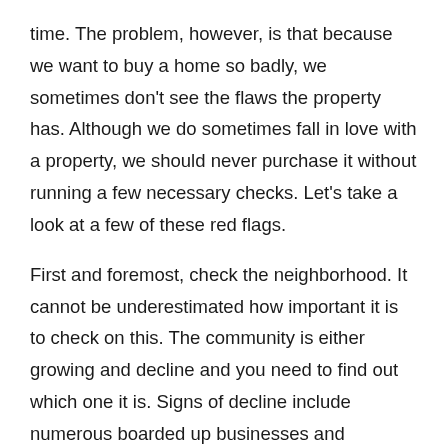time. The problem, however, is that because we want to buy a home so badly, we sometimes don't see the flaws the property has. Although we do sometimes fall in love with a property, we should never purchase it without running a few necessary checks. Let's take a look at a few of these red flags.
First and foremost, check the neighborhood. It cannot be underestimated how important it is to check on this. The community is either growing and decline and you need to find out which one it is. Signs of decline include numerous boarded up businesses and foreclosed homes. Make sure you visit the area on two different occasions. This is also a great way to find out what traffic is like. Make sure you come during an evening once as well, so you